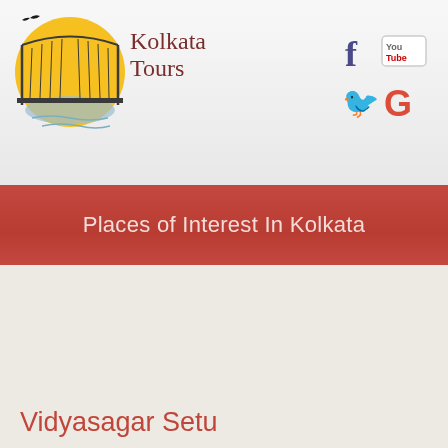[Figure (logo): Kolkata Tours logo with Howrah Bridge illustration on yellow/orange circle background, with a bird silhouette, and text 'Kolkata Tours' in dark red serif font]
[Figure (infographic): Social media icons: Facebook (f), YouTube, Twitter (bird), Google (G)]
Places of Interest In Kolkata
Vidyasagar Setu